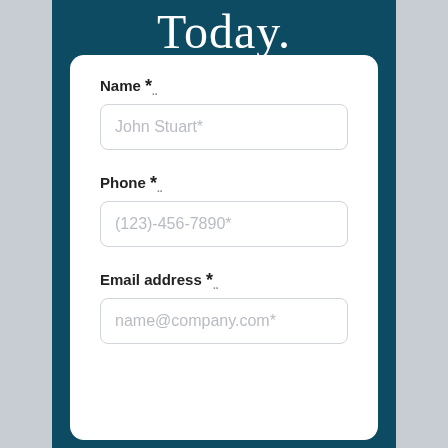Today.
Name *
John Stuart*
Phone *
(123)-456-7890*
Email address *
name@company.com*